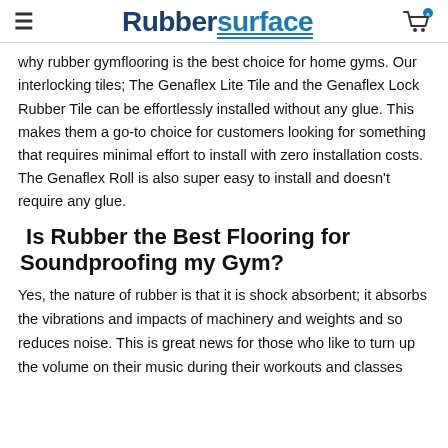Rubbersurface
why rubber gymflooring is the best choice for home gyms. Our interlocking tiles; The Genaflex Lite Tile and the Genaflex Lock Rubber Tile can be effortlessly installed without any glue.  This makes them a go-to choice for customers looking for something that requires minimal effort to install with zero installation costs.  The Genaflex Roll is also super easy to install and doesn't require any glue.
Is Rubber the Best Flooring for Soundproofing my Gym?
Yes, the nature of rubber is that it is shock absorbent; it absorbs the vibrations and impacts of machinery and weights and so reduces noise.  This is great news for those who like to turn up the volume on their music during their workouts and classes